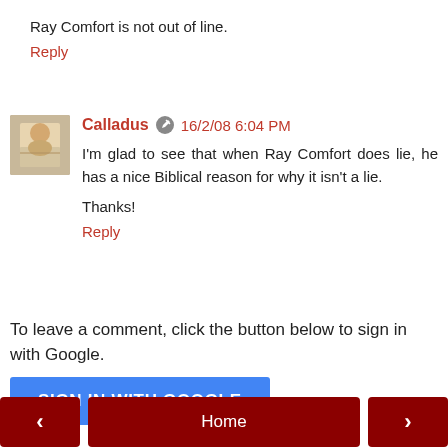Ray Comfort is not out of line.
Reply
Calladus  16/2/08 6:04 PM
I'm glad to see that when Ray Comfort does lie, he has a nice Biblical reason for why it isn't a lie.

Thanks!
Reply
To leave a comment, click the button below to sign in with Google.
SIGN IN WITH GOOGLE
< Home >